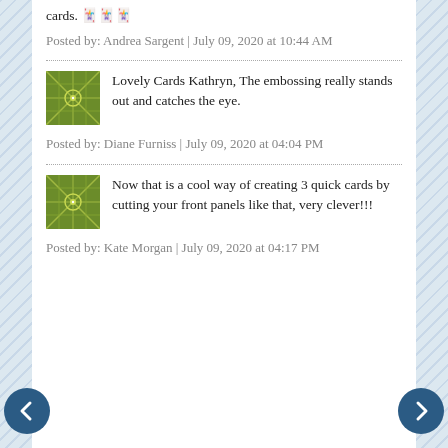cards. 🃏🃏🃏
Posted by: Andrea Sargent | July 09, 2020 at 10:44 AM
Lovely Cards Kathryn, The embossing really stands out and catches the eye.
Posted by: Diane Furniss | July 09, 2020 at 04:04 PM
Now that is a cool way of creating 3 quick cards by cutting your front panels like that, very clever!!!
Posted by: Kate Morgan | July 09, 2020 at 04:17 PM